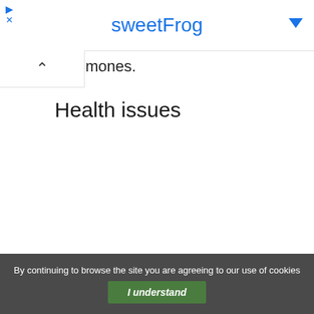sweetFrog
mones.
Health issues
By continuing to browse the site you are agreeing to our use of cookies  I understand